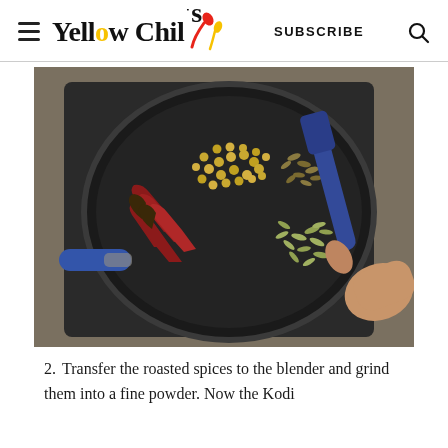Yellow Chili's  SUBSCRIBE
[Figure (photo): Top-down view of a black non-stick pan on a dark stovetop with spices: coriander seeds, cumin seeds, dried red chilies, and fennel seeds, with a blue silicone spatula and a hand pointing at the spices.]
2. Transfer the roasted spices to the blender and grind them into a fine powder. Now the Kodi